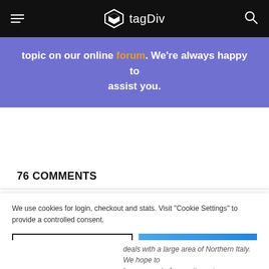tagDiv
topic on our online forum. We're always happy to assist you.
76 COMMENTS
We use cookies for login, checkout and stats. Visit "Cookie Settings" to provide a controlled consent.
deals with a large area of Northern Italy. We hope to become part of your site review. Thanks, good day